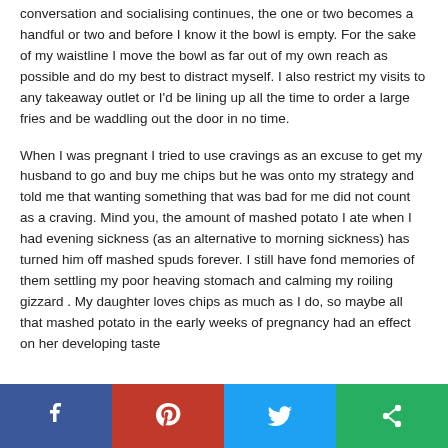conversation and socialising continues, the one or two becomes a handful or two and before I know it the bowl is empty. For the sake of my waistline I move the bowl as far out of my own reach as possible and do my best to distract myself. I also restrict my visits to any takeaway outlet or I'd be lining up all the time to order a large fries and be waddling out the door in no time.
When I was pregnant I tried to use cravings as an excuse to get my husband to go and buy me chips but he was onto my strategy and told me that wanting something that was bad for me did not count as a craving. Mind you, the amount of mashed potato I ate when I had evening sickness (as an alternative to morning sickness) has turned him off mashed spuds forever. I still have fond memories of them settling my poor heaving stomach and calming my roiling gizzard . My daughter loves chips as much as I do, so maybe all that mashed potato in the early weeks of pregnancy had an effect on her developing taste
[Figure (other): Social sharing bar with Facebook, Pinterest, Twitter, and a fourth sharing button]